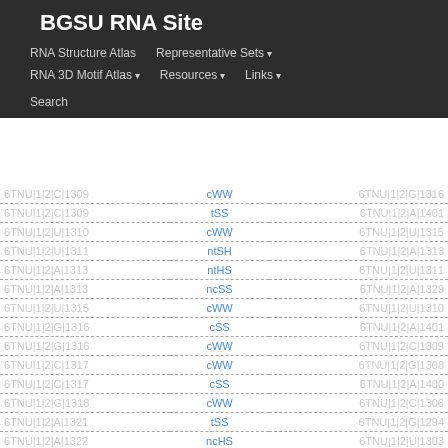BGSU RNA Site
RNA Structure Atlas | Representative Sets ▾ | RNA 3D Motif Atlas ▾ | Resources ▾ | Links ▾ | Search
| Nucleotide 1 | Interaction | Nucleotide 2 |
| --- | --- | --- |
| 6TNU|1|2|C|1309 | cWW | 6TNU|1|2|G|1316 |
| 6TNU|1|2|C|1309 | tSS | 6TNU|1|2|A|1401 |
| 6TNU|1|2|U|1310 | cWW | 6TNU|1|2|U|1315 |
| 6TNU|1|2|U|1311 | ntSH | 6TNU|1|2|A|1313 |
| 6TNU|1|2|A|1313 | ntHS | 6TNU|1|2|U|1311 |
| 6TNU|1|2|A|1313 | ncSS | 6TNU|1|2|A|1329 |
| 6TNU|1|2|U|1315 | cWW | 6TNU|1|2|U|1310 |
| 6TNU|1|2|G|1316 | cSS | 6TNU|1|2|A|1401 |
| 6TNU|1|2|G|1316 | cWW | 6TNU|1|2|C|1309 |
| 6TNU|1|2|C|1317 | cWW | 6TNU|1|2|G|1308 |
| 6TNU|1|2|C|1317 | cSS | 6TNU|1|2|A|1400 |
| 6TNU|1|2|G|1318 | cWW | 6TNU|1|2|C|1306 |
| 6TNU|1|2|A|1321 | tSS | 6TNU|1|2|G|1294 |
| 6TNU|1|2|A|1322 | ncHS | 6TNU|1|2|U|1303 |
| 6TNU|1|2|A|1322 | cWW | 6TNU|1|2|U|1293 |
| 6TNU|1|2|C|1323 | cHS | 6TNU|1|2|G|1304 |